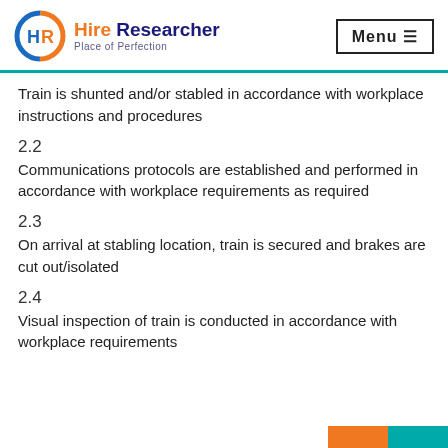Hire Researcher — Place of Perfection | Menu
Train is shunted and/or stabled in accordance with workplace instructions and procedures
2.2
Communications protocols are established and performed in accordance with workplace requirements as required
2.3
On arrival at stabling location, train is secured and brakes are cut out/isolated
2.4
Visual inspection of train is conducted in accordance with workplace requirements